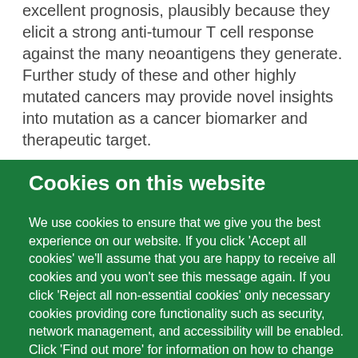excellent prognosis, plausibly because they elicit a strong anti-tumour T cell response against the many neoantigens they generate. Further study of these and other highly mutated cancers may provide novel insights into mutation as a cancer biomarker and therapeutic target.
Cookies on this website
We use cookies to ensure that we give you the best experience on our website. If you click 'Accept all cookies' we'll assume that you are happy to receive all cookies and you won't see this message again. If you click 'Reject all non-essential cookies' only necessary cookies providing core functionality such as security, network management, and accessibility will be enabled. Click 'Find out more' for information on how to change your cookie settings.